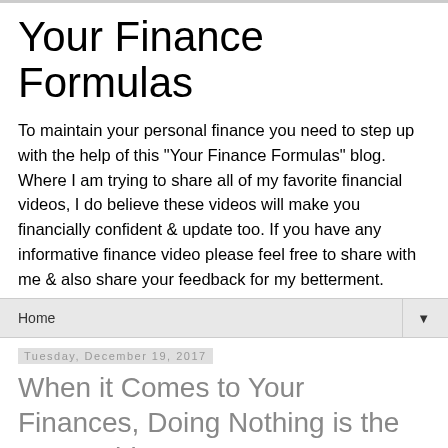Your Finance Formulas
To maintain your personal finance you need to step up with the help of this "Your Finance Formulas" blog. Where I am trying to share all of my favorite financial videos, I do believe these videos will make you financially confident & update too. If you have any informative finance video please feel free to share with me & also share your feedback for my betterment.
Home
Tuesday, December 19, 2017
When it Comes to Your Finances, Doing Nothing is the Worst Thing You Can Do